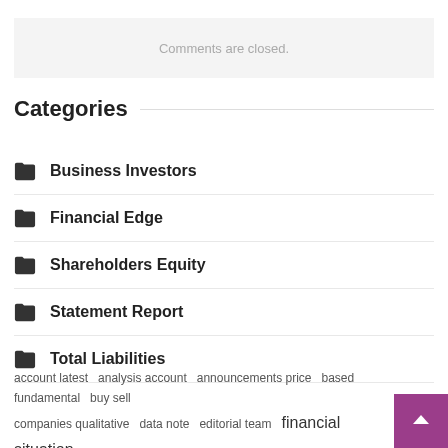Comments are closed.
Categories
Business Investors
Financial Edge
Shareholders Equity
Statement Report
Total Liabilities
account latest  analysis account  announcements price  based fundamental  buy sell  companies qualitative  data note  editorial team  financial situation